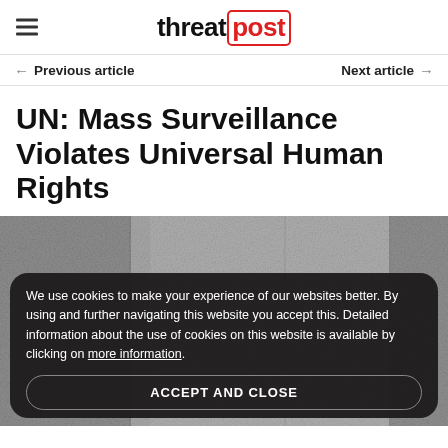threat post
← Previous article    Next article →
UN: Mass Surveillance Violates Universal Human Rights
[Figure (photo): Grainy black and white surveillance-style photograph showing panels or doors in a corridor.]
We use cookies to make your experience of our websites better. By using and further navigating this website you accept this. Detailed information about the use of cookies on this website is available by clicking on more information.
ACCEPT AND CLOSE